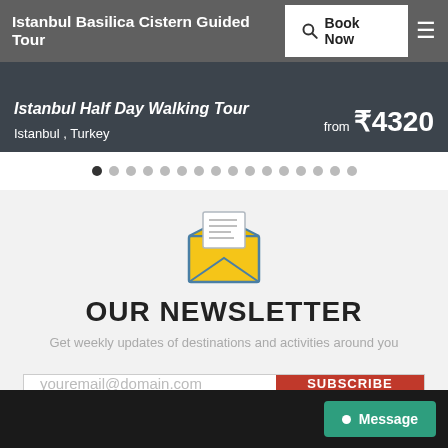Istanbul Basilica Cistern Guided Tour | Book Now
[Figure (screenshot): Istanbul Half Day Walking Tour banner with location Istanbul, Turkey and price from ₹4320]
[Figure (other): Carousel navigation dots, first dot active]
[Figure (illustration): Email envelope icon — open envelope with letter inside, yellow and blue]
OUR NEWSLETTER
Get weekly updates of destinations and activities around you
youremail@domain.com
SUBSCRIBE
Message